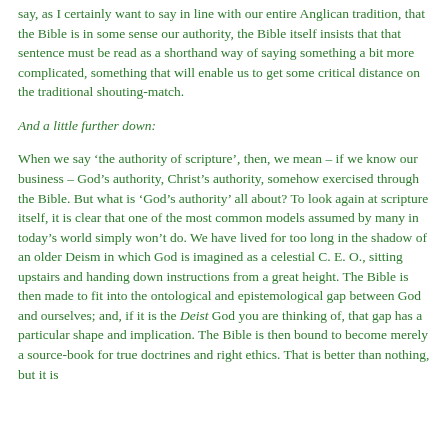say, as I certainly want to say in line with our entire Anglican tradition, that the Bible is in some sense our authority, the Bible itself insists that that sentence must be read as a shorthand way of saying something a bit more complicated, something that will enable us to get some critical distance on the traditional shouting-match.
And a little further down:
When we say ‘the authority of scripture’, then, we mean – if we know our business – God’s authority, Christ’s authority, somehow exercised through the Bible. But what is ‘God’s authority’ all about? To look again at scripture itself, it is clear that one of the most common models assumed by many in today’s world simply won’t do. We have lived for too long in the shadow of an older Deism in which God is imagined as a celestial C. E. O., sitting upstairs and handing down instructions from a great height. The Bible is then made to fit into the ontological and epistemological gap between God and ourselves; and, if it is the Deist God you are thinking of, that gap has a particular shape and implication. The Bible is then bound to become merely a source-book for true doctrines and right ethics. That is better than nothing, but it is